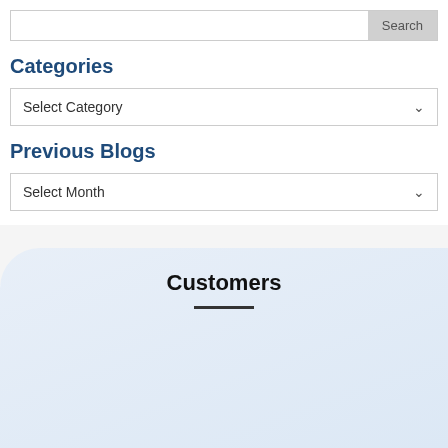[Figure (screenshot): Search bar with input field and Search button]
Categories
[Figure (screenshot): Dropdown select box labeled Select Category with chevron]
Previous Blogs
[Figure (screenshot): Dropdown select box labeled Select Month with chevron]
Customers